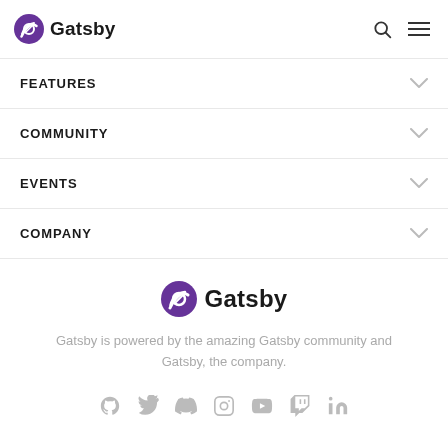Gatsby
FEATURES
COMMUNITY
EVENTS
COMPANY
[Figure (logo): Gatsby logo with purple spiral icon and 'Gatsby' wordmark]
Gatsby is powered by the amazing Gatsby community and Gatsby, the company.
[Figure (infographic): Row of social media icons: GitHub, Twitter, Discord, Instagram, YouTube, Twitch, LinkedIn]